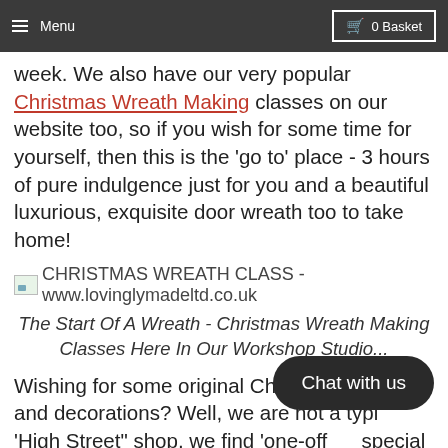Menu | 0 Basket
week. We also have our very popular Christmas Wreath Making classes on our website too, so if you wish for some time for yourself, then this is the 'go to' place - 3 hours of pure indulgence just for you and a beautiful luxurious, exquisite door wreath too to take home!
[Figure (photo): Image placeholder showing broken image icon with alt text: CHRISTMAS WREATH CLASS - www.lovinglymadeltd.co.uk]
The Start Of A Wreath - Christmas Wreath Making Classes Here In Our Workshop Studio...
Wishing for some original Christmas presents and decorations? Well, we are not a typical 'High Street" shop, we find 'one-off' special handmade object's-da, signature valuable